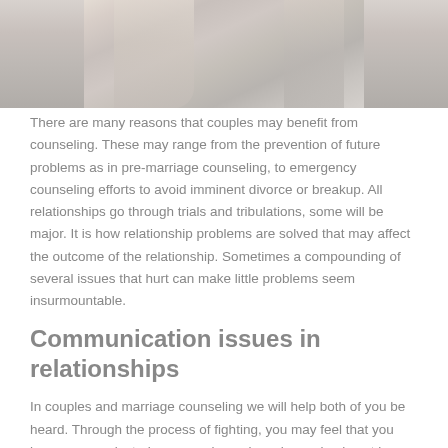[Figure (photo): Partial image of a couple, cropped at top — appears to show two people in close proximity, image is clipped to show only the lower portion of the photograph.]
There are many reasons that couples may benefit from counseling. These may range from the prevention of future problems as in pre-marriage counseling, to emergency counseling efforts to avoid imminent divorce or breakup. All relationships go through trials and tribulations, some will be major. It is how relationship problems are solved that may affect the outcome of the relationship. Sometimes a compounding of several issues that hurt can make little problems seem insurmountable.
Communication issues in relationships
In couples and marriage counseling we will help both of you be heard. Through the process of fighting, you may feel that you have communicated your needs, and you have simply not been heard. Most often, your message is all but lost by your delivery. Difficulties in relationships are often the result of un-met needs. A counselor will work with you to help you gain each other's